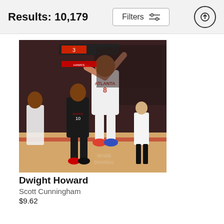Results: 10,179
[Figure (photo): Basketball player in white Atlanta Hawks #8 jersey jumping up with arms raised during an NBA game, surrounded by players in black Raptors uniforms, crowd in background]
Dwight Howard
Scott Cunningham
$9.62